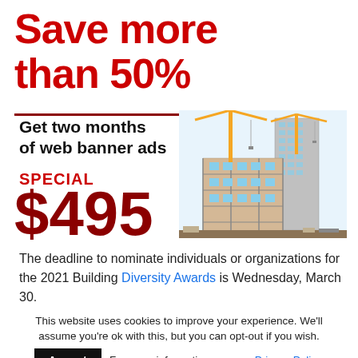Save more than 50%
Get two months of web banner ads
SPECIAL $495
[Figure (illustration): Construction site illustration with cranes, buildings under construction, and scaffolding]
The deadline to nominate individuals or organizations for the 2021 Building Diversity Awards is Wednesday, March 30.
This website uses cookies to improve your experience. We'll assume you're ok with this, but you can opt-out if you wish. Accept For more information, see our Privacy Policy.